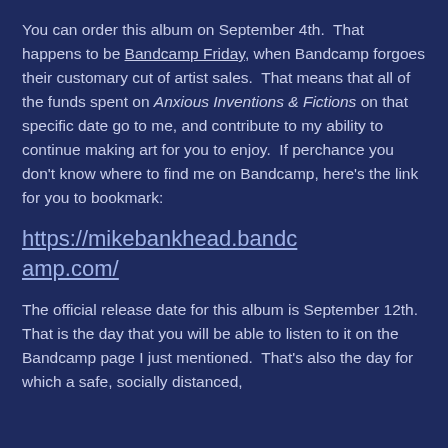You can order this album on September 4th.  That happens to be Bandcamp Friday, when Bandcamp forgoes their customary cut of artist sales.  That means that all of the funds spent on Anxious Inventions & Fictions on that specific date go to me, and contribute to my ability to continue making art for you to enjoy.  If perchance you don't know where to find me on Bandcamp, here's the link for you to bookmark:
https://mikebankhead.bandcamp.com/
The official release date for this album is September 12th.  That is the day that you will be able to listen to it on the Bandcamp page I just mentioned.  That's also the day for which a safe, socially distanced,